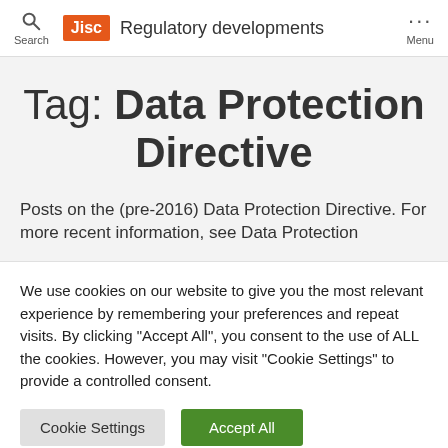Jisc — Regulatory developments — Search — Menu
Tag: Data Protection Directive
Posts on the (pre-2016) Data Protection Directive. For more recent information, see Data Protection
We use cookies on our website to give you the most relevant experience by remembering your preferences and repeat visits. By clicking "Accept All", you consent to the use of ALL the cookies. However, you may visit "Cookie Settings" to provide a controlled consent.